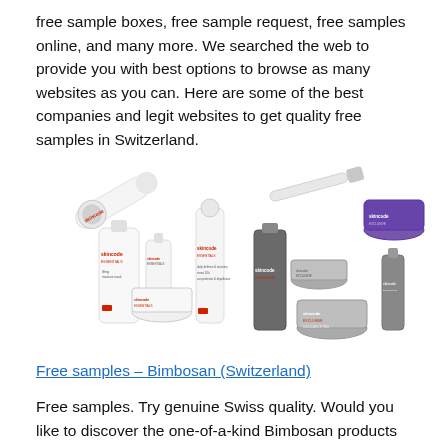free sample boxes, free sample request, free samples online, and many more. We searched the web to provide you with best options to browse as many websites as you can. Here are some of the best companies and legit websites to get quality free samples in Switzerland.
[Figure (photo): Collection of Skincode skincare products including tubes, bottles, jars, and serums from both the Essentials and Exclusive lines, displayed on a white background.]
Free samples – Bimbosan (Switzerland)
Free samples. Try genuine Swiss quality. Would you like to discover the one-of-a-kind Bimbosan products for yourself?